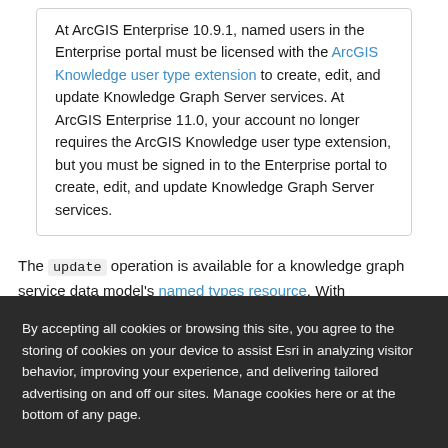At ArcGIS Enterprise 10.9.1, named users in the Enterprise portal must be licensed with the ArcGIS Knowledge user type extension to create, edit, and update Knowledge Graph Server services. At ArcGIS Enterprise 11.0, your account no longer requires the ArcGIS Knowledge user type extension, but you must be signed in to the Enterprise portal to create, edit, and update Knowledge Graph Server services.
The update operation is available for a knowledge graph service data model's named types resource. With
By accepting all cookies or browsing this site, you agree to the storing of cookies on your device to assist Esri in analyzing visitor behavior, improving your experience, and delivering tailored advertising on and off our sites. Manage cookies here or at the bottom of any page.